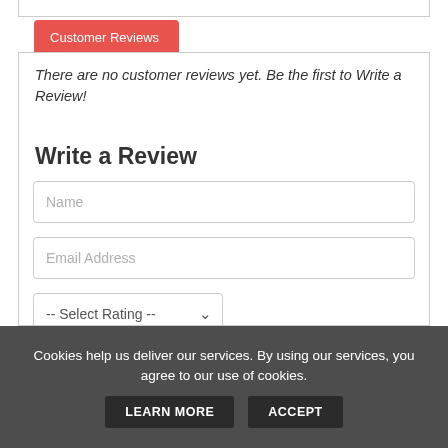Customer Reviews
There are no customer reviews yet. Be the first to Write a Review!
Write a Review
Name
Email Address
-- Select Rating --
Cookies help us deliver our services. By using our services, you agree to our use of cookies. LEARN MORE ACCEPT